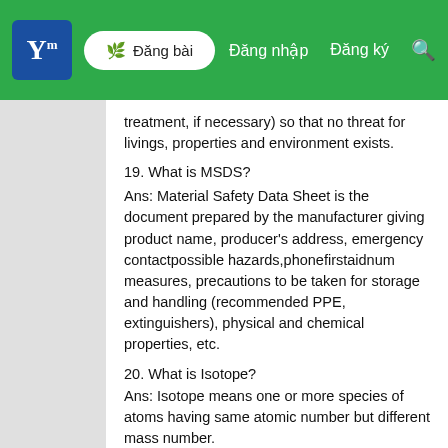Y | Đăng bài | Đăng nhập Đăng ký 🔍
treatment, if necessary) so that no threat for livings, properties and environment exists.
19. What is MSDS?
Ans: Material Safety Data Sheet is the document prepared by the manufacturer giving product name, producer's address, emergency contactpossible hazards,phonefirstaidnum measures, precautions to be taken for storage and handling (recommended PPE, extinguishers), physical and chemical properties, etc.
20. What is Isotope?
Ans: Isotope means one or more species of atoms having same atomic number but different mass number.